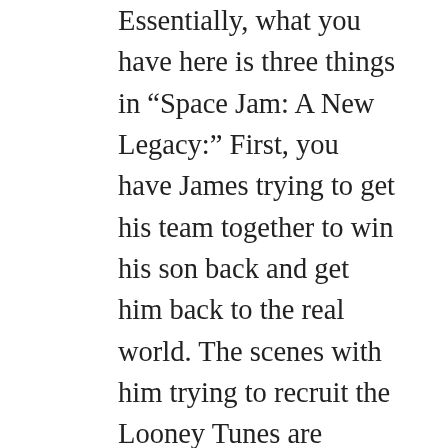Essentially, what you have here is three things in “Space Jam: A New Legacy:” First, you have James trying to get his team together to win his son back and get him back to the real world. The scenes with him trying to recruit the Looney Tunes are enjoyable to a point, but the filmmakers spent too much time on them. Second, you have the basketball game which features incredibly annoying and silly commentary from Ernie Johnson and Lil Rel Howery. This game is just ridiculous.  Finally, the best scenes, as mentioned, are the ones where James gets to be a human being and not a basketball player spouting off cliches or a cartoon character. We needed more of this.
A lot of people can connect with all of these self...